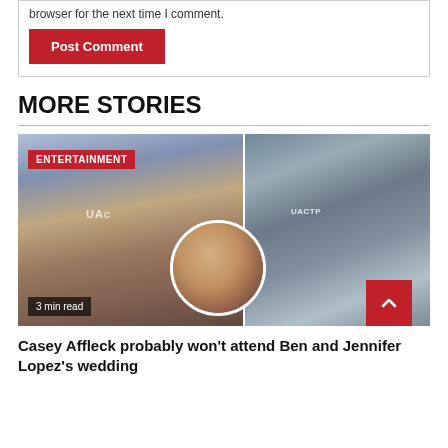browser for the next time I comment.
Post Comment
MORE STORIES
[Figure (photo): Collage of Casey Affleck in a blue hoodie holding a Starbucks drink (left), Casey Affleck on a phone call outside (right), and a circular inset of Ben Affleck and Jennifer Lopez. An ENTERTAINMENT badge is shown top-left and '3 min read' badge at bottom-left.]
Casey Affleck probably won't attend Ben and Jennifer Lopez's wedding